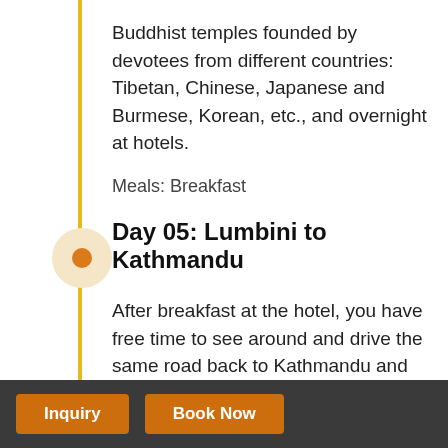Buddhist temples founded by devotees from different countries: Tibetan, Chinese, Japanese and Burmese, Korean, etc., and overnight at hotels.
Meals: Breakfast
Day 05: Lumbini to Kathmandu
After breakfast at the hotel, you have free time to see around and drive the same road back to Kathmandu and overnight at the hotel. Evening time you will be open for shopping for your friends and family.
Meals: Breakfast
Inquiry   Book Now